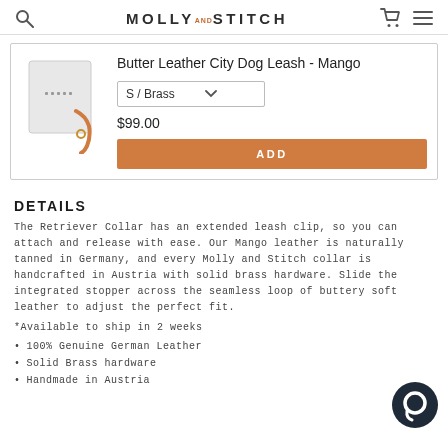MOLLY AND STITCH
Butter Leather City Dog Leash - Mango
S / Brass
$99.00
ADD
DETAILS
The Retriever Collar has an extended leash clip, so you can attach and release with ease. Our Mango leather is naturally tanned in Germany, and every Molly and Stitch collar is handcrafted in Austria with solid brass hardware. Slide the integrated stopper across the seamless loop of buttery soft leather to adjust the perfect fit.
*Available to ship in 2 weeks
100% Genuine German Leather
Solid Brass hardware
Handmade in Austria